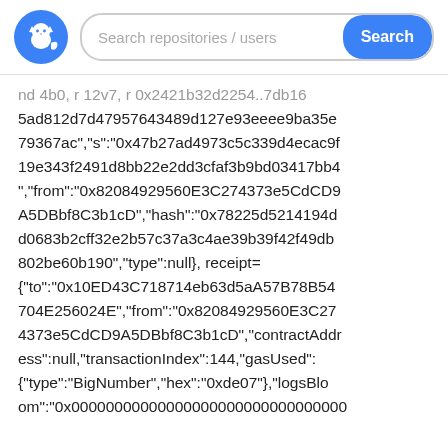[Figure (screenshot): GitHub-style page header with GitHub logo (blue circle with cat icon) and a search bar with placeholder text 'Search repositories / users' and a blue 'Search' button]
nd 4b0, r 12v7, r 0x2421b32d2254..7db16 5ad812d7d47957643489d127e93eeee9ba35e 79367ac","s":"0x47b27ad4973c5c339d4ecac9f 19e343f2491d8bb22e2dd3cfaf3b9bd03417bb4 ","from":"0x82084929560E3C274373e5CdCD9 A5DBbf8C3b1cD","hash":"0x78225d5214194d d0683b2cff32e2b57c37a3c4ae39b39f42f49db 802be60b190","type":null}, receipt= {"to":"0x10ED43C718714eb63d5aA57B78B54 704E256024E","from":"0x82084929560E3C27 4373e5CdCD9A5DBbf8C3b1cD","contractAddr ess":null,"transactionIndex":144,"gasUsed": {"type":"BigNumber","hex":"0xde07"},"logsBlo om":"0x00000000000000000000000000000000